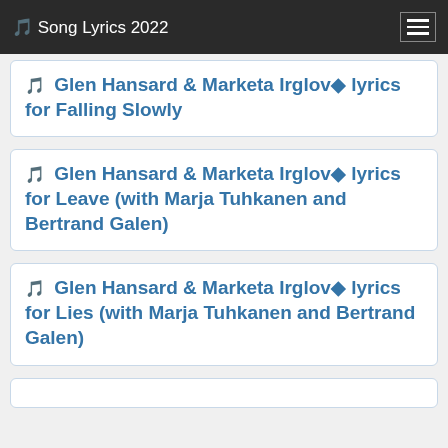🎵 Song Lyrics 2022
🎵 Glen Hansard & Marketa Irglová lyrics for Falling Slowly
🎵 Glen Hansard & Marketa Irglová lyrics for Leave (with Marja Tuhkanen and Bertrand Galen)
🎵 Glen Hansard & Marketa Irglová lyrics for Lies (with Marja Tuhkanen and Bertrand Galen)
🎵 Glen Hansard & Marketa Irglová lyrics for...